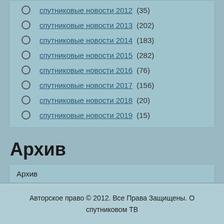спутниковые новости 2012 (35)
спутниковые новости 2013 (202)
спутниковые новости 2014 (183)
спутниковые новости 2015 (282)
спутниковые новости 2016 (76)
спутниковые новости 2017 (156)
спутниковые новости 2018 (20)
спутниковые новости 2019 (15)
Архив
Архив
Выберите месяц
Авторское право © 2012. Все Права Защищены. О спутниковом ТВ